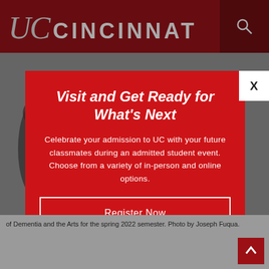[Figure (screenshot): University of Cincinnati website screenshot with UC logo and header, partially visible webpage content, and a popup modal overlay.]
Visit and Get Ready for What's Next
Celebrate your admission to UC with your future classmates during an admitted student event. Choose from a variety of in-person and online options.
Register Now
of Dementia and the Arts for the spring 2022 semester. Photo by Joseph Fuqua.